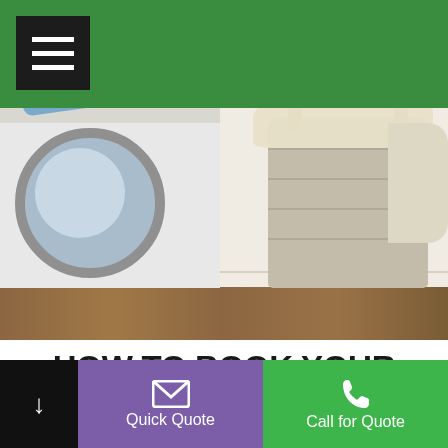[Figure (photo): Laundry scene with washing machine and laundry basket on wooden floor — hero banner image]
HOW TO BOOK YOUR HOME CLEAN FOR THE GIFFNOCK AREA
[Figure (illustration): Green calendar icon with grid of squares representing booking/scheduling]
Quick Quote
Call for Quote